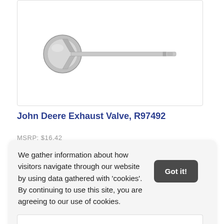[Figure (photo): John Deere exhaust valve R97492 — a metal engine valve with a flat disc head on the left and a long thin stem extending to the right.]
John Deere Exhaust Valve, R97492
MSRP: $16.42
We gather information about how visitors navigate through our website by using data gathered with 'cookies'. By continuing to use this site, you are agreeing to our use of cookies. Learn more